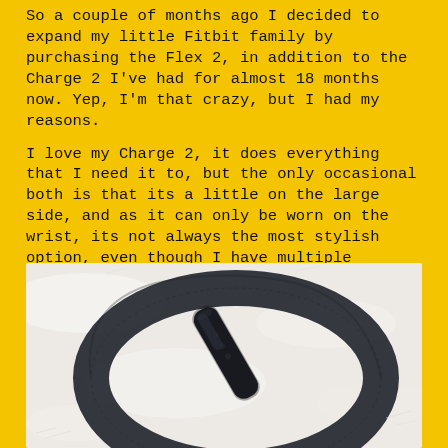So a couple of months ago I decided to expand my little Fitbit family by purchasing the Flex 2, in addition to the Charge 2 I've had for almost 18 months now. Yep, I'm that crazy, but I had my reasons.
I love my Charge 2, it does everything that I need it to, but the only occasional both is that its a little on the large side, and as it can only be worn on the wrist, its not always the most stylish option, even though I have multiple different coloured straps to colour co-ordinate it! This is where the Flex 2 comes in.
[Figure (photo): A Fitbit Flex 2 tracker removed from its band, both lying on a white fluffy surface. The dark navy/black band and tracker module are shown close-up.]